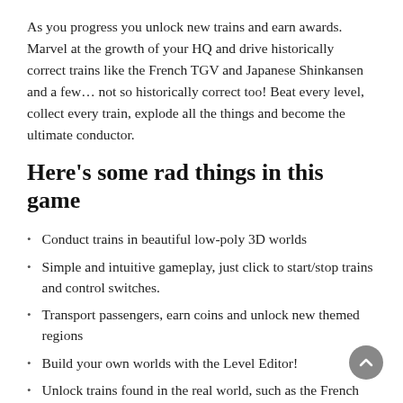As you progress you unlock new trains and earn awards. Marvel at the growth of your HQ and drive historically correct trains like the French TGV and Japanese Shinkansen and a few… not so historically correct too! Beat every level, collect every train, explode all the things and become the ultimate conductor.
Here's some rad things in this game
Conduct trains in beautiful low-poly 3D worlds
Simple and intuitive gameplay, just click to start/stop trains and control switches.
Transport passengers, earn coins and unlock new themed regions
Build your own worlds with the Level Editor!
Unlock trains found in the real world, such as the French TGV and Japanese Shinkansen, to expand your train collection